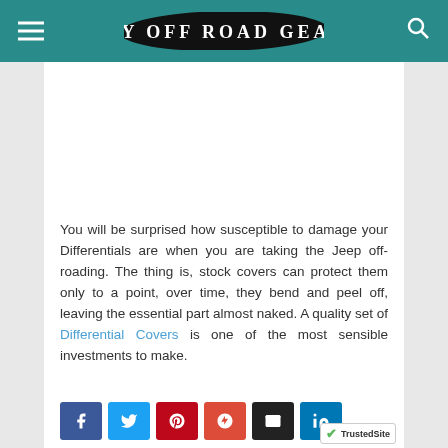MY OFF ROAD GEAR
[Figure (other): White image/advertisement placeholder area]
You will be surprised how susceptible to damage your Differentials are when you are taking the Jeep off-roading. The thing is, stock covers can protect them only to a point, over time, they bend and peel off, leaving the essential part almost naked. A quality set of Differential Covers is one of the most sensible investments to make.
[Figure (other): Social media share buttons: Facebook, Twitter, Pinterest, Google+, Email, LinkedIn. TrustedSite badge in bottom right corner.]